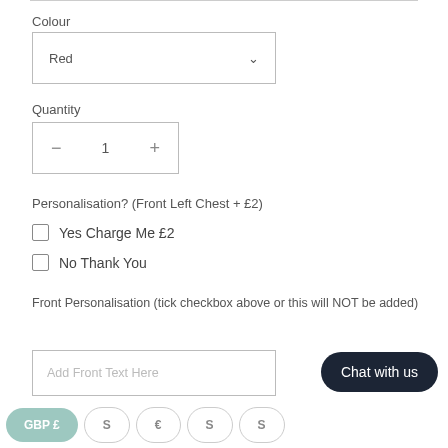Colour
Red
Quantity
1
Personalisation? (Front Left Chest + £2)
Yes Charge Me £2
No Thank You
Front Personalisation (tick checkbox above or this will NOT be added)
Add Front Text Here
Chat with us
GBP £
S
€
S
S